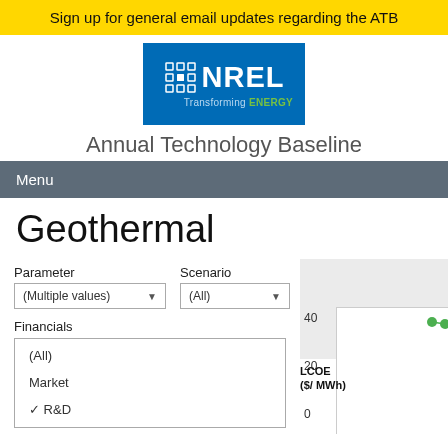Sign up for general email updates regarding the ATB
[Figure (logo): NREL - Transforming ENERGY logo on blue background]
Annual Technology Baseline
Menu
Geothermal
Parameter
(Multiple values)
Scenario
(All)
Financials
(All)
Market
✓ R&D
[Figure (continuous-plot): Partial LCOE ($/MWh) chart for Geothermal with y-axis labels 0, 20, 40 and green data points visible at top right and bottom right]